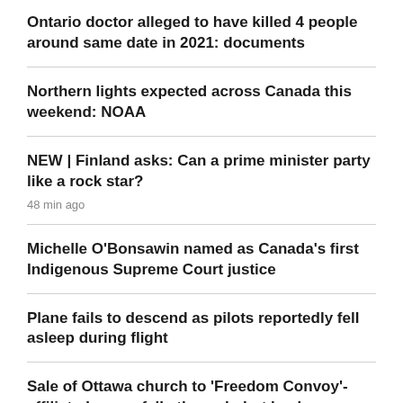Ontario doctor alleged to have killed 4 people around same date in 2021: documents
Northern lights expected across Canada this weekend: NOAA
NEW | Finland asks: Can a prime minister party like a rock star?
48 min ago
Michelle O'Bonsawin named as Canada's first Indigenous Supreme Court justice
Plane fails to descend as pilots reportedly fell asleep during flight
Sale of Ottawa church to 'Freedom Convoy'-affiliated group falls through, but leader says